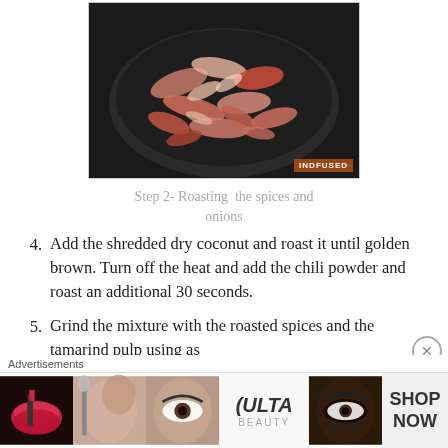[Figure (photo): A frying pan with roasted sliced onions and spices, viewed from above. Watermark reads 'INDFUSED' in bottom right corner.]
Step 2- Roasting  the spices and onions
4. Add the shredded dry coconut and roast it until golden brown. Turn off the heat and add the chili powder and roast an additional 30 seconds.
5. Grind the mixture with the roasted spices and the tamarind pulp using as
[Figure (screenshot): Advertisement banner showing Ulta Beauty ad with makeup imagery and 'SHOP NOW' text.]